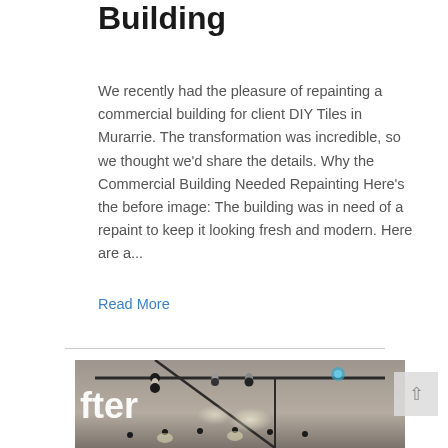Building
We recently had the pleasure of repainting a commercial building for client DIY Tiles in Murarrie. The transformation was incredible, so we thought we'd share the details. Why the Commercial Building Needed Repainting Here's the before image: The building was in need of a repaint to keep it looking fresh and modern. Here are a...
Read More
[Figure (photo): Interior photo of a commercial space after repainting, showing track lighting on the ceiling. Text 'fter' visible in white on the left side of the image, indicating this is an 'after' photo. Track lighting with multiple spotlights is visible on the ceiling.]